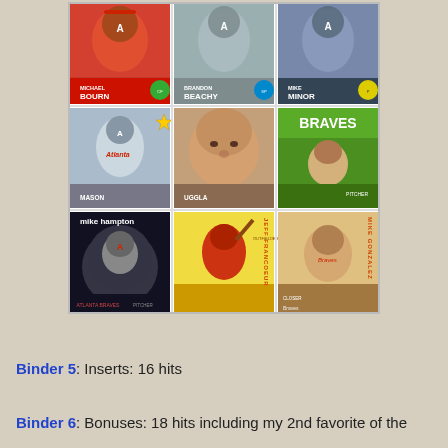[Figure (photo): A 3x3 grid of baseball trading cards featuring Atlanta Braves players. Top row: Michael Bourn (red card), Brandon Beachy (grey card), Mike Minor (grey/dark card). Middle row: Mason (grey Braves uniform card), Uggla (brown/tan card), Makowski pitcher (green Braves card). Bottom row: Mike Hampton (black card), Jeff Francoeur (yellow card), Mike Gonzalez (tan card).]
Binder 5: Inserts: 16 hits
Binder 6: Bonuses: 18 hits including my 2nd favorite of the